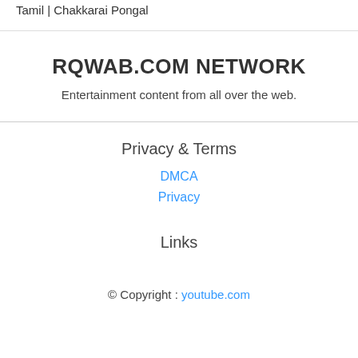Tamil | Chakkarai Pongal
RQWAB.COM NETWORK
Entertainment content from all over the web.
Privacy & Terms
DMCA
Privacy
Links
© Copyright : youtube.com